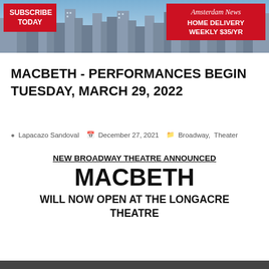[Figure (illustration): Banner image of New York City skyline with 'Subscribe Today' red box on left and Amsterdam News Home Delivery Weekly $35/YR red box on right]
MACBETH - PERFORMANCES BEGIN TUESDAY, MARCH 29, 2022
Lapacazo Sandoval  December 27, 2021  Broadway, Theater
NEW BROADWAY THEATRE ANNOUNCED
MACBETH
WILL NOW OPEN AT THE LONGACRE THEATRE